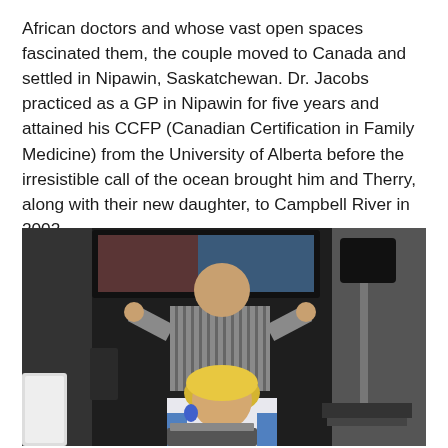African doctors and whose vast open spaces fascinated them, the couple moved to Canada and settled in Nipawin, Saskatchewan. Dr. Jacobs practiced as a GP in Nipawin for five years and attained his CCFP (Canadian Certification in Family Medicine) from the University of Alberta before the irresistible call of the ocean brought him and Therry, along with their new daughter, to Campbell River in 2002.
[Figure (photo): A man in a striped shirt standing behind a seated blonde woman, both in what appears to be a clinical or office setting. A TV/monitor is visible on the wall behind, and a lamp is on a side table to the right.]